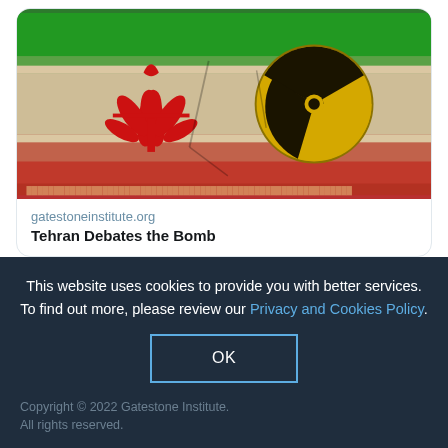[Figure (screenshot): Link preview card showing Iranian flag with nuclear radiation symbol image for article 'Tehran Debates the Bomb' from gatestoneinstitute.org]
gatestoneinstitute.org
Tehran Debates the Bomb
2  5
[Figure (screenshot): Twitter/social media feed showing Gatestone Institute tweet with GSI logo avatar, verified badge, handle @Gat..., dated Aug 27, with text: Still More Dangerous New Concessions by Biden Administration for a Nuclear...]
Gatestone... @Gat... · Aug 27
Still More Dangerous New Concessions by Biden Administration for a Nuclear
This website uses cookies to provide you with better services. To find out more, please review our Privacy and Cookies Policy.
OK
Copyright © 2022 Gatestone Institute. All rights reserved.